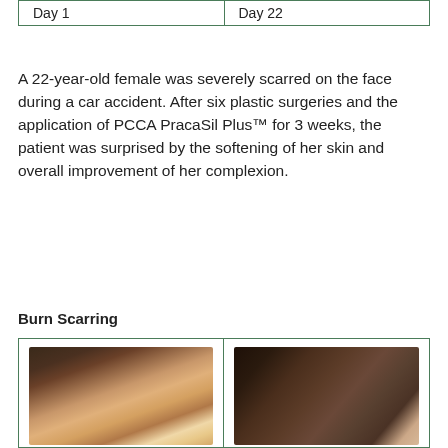| Day 1 | Day 22 |
| --- | --- |
A 22-year-old female was severely scarred on the face during a car accident. After six plastic surgeries and the application of PCCA PracaSil Plus™ for 3 weeks, the patient was surprised by the softening of her skin and overall improvement of her complexion.
Burn Scarring
[Figure (photo): Two side-by-side clinical photos showing burn scarring on neck/back of head. Left photo (before treatment) shows severe burn scarring with discolored skin patches. Right photo (after treatment) shows significantly improved skin with healed appearance.]